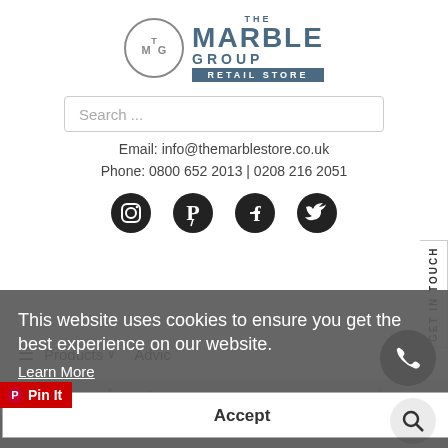[Figure (logo): The Marble Group Retail Store logo with TMG monogram in circle and text]
Search ...
Email: info@themarblestore.co.uk
Phone: 0800 652 2013 | 0208 216 2051
[Figure (illustration): Social media icons: Instagram, Pinterest, Facebook, Twitter]
GET IN TOUCH
This website uses cookies to ensure you get the best experience on our website.
Learn More
Products ∨
Advice
Home / Shop / Granite Worktops / Bianco Diamante
Accept
[Figure (photo): Bianco Diamante granite texture photo at bottom of page]